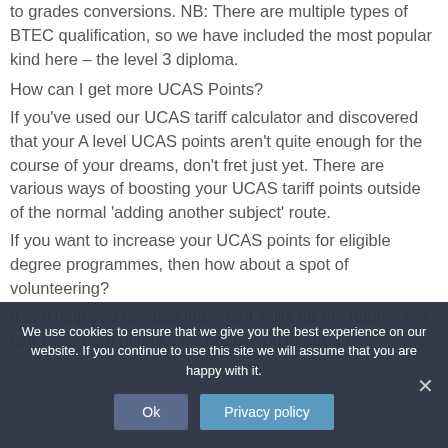to grades conversions. NB: There are multiple types of BTEC qualification, so we have included the most popular kind here – the level 3 diploma.
How can I get more UCAS Points?
If you've used our UCAS tariff calculator and discovered that your A level UCAS points aren't quite enough for the course of your dreams, don't fret just yet. There are various ways of boosting your UCAS tariff points outside of the normal 'adding another subject' route.
If you want to increase your UCAS points for eligible degree programmes, then how about a spot of volunteering?
It can help you develop important skills for the future. You can even earn points for a hobby you're already
We use cookies to ensure that we give you the best experience on our website. If you continue to use this site we will assume that you are happy with it.